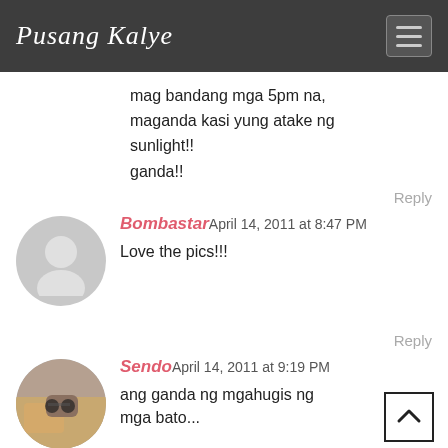Pusang Kalye
mag bandang mga 5pm na, maganda kasi yung atake ng sunlight!!
ganda!!
Reply
Bombastar April 14, 2011 at 8:47 PM
Love the pics!!!
Reply
Sendo April 14, 2011 at 9:19 PM
ang ganda ng mgahugis ng mga bato...
Reply
Arvin U. de la Peña April 14, 2011 at